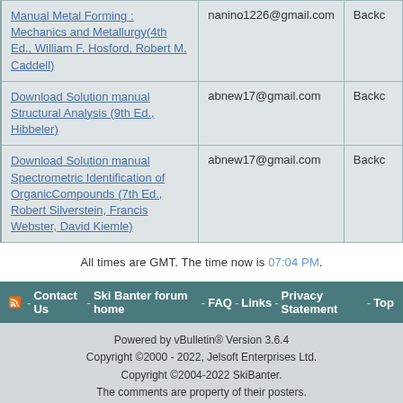| Thread Title | Email | Back |
| --- | --- | --- |
| Manual Metal Forming : Mechanics and Metallurgy(4th Ed., William F. Hosford, Robert M. Caddell) | nanino1226@gmail.com | Backc |
| Download Solution manual Structural Analysis (9th Ed., Hibbeler) | abnew17@gmail.com | Backc |
| Download Solution manual Spectrometric Identification of OrganicCompounds (7th Ed., Robert Silverstein, Francis Webster, David Kiemle) | abnew17@gmail.com | Backc |
All times are GMT. The time now is 07:04 PM.
- Contact Us - Ski Banter forum home - FAQ - Links - Privacy Statement - Top
Powered by vBulletin® Version 3.6.4
Copyright ©2000 - 2022, Jelsoft Enterprises Ltd.
Copyright ©2004-2022 SkiBanter.
The comments are property of their posters.